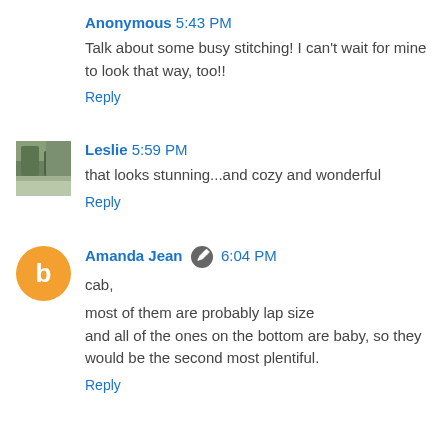Anonymous 5:43 PM
Talk about some busy stitching! I can't wait for mine to look that way, too!!
Reply
Leslie 5:59 PM
that looks stunning...and cozy and wonderful
Reply
Amanda Jean 6:04 PM
cab,

most of them are probably lap size
and all of the ones on the bottom are baby, so they would be the second most plentiful.
Reply